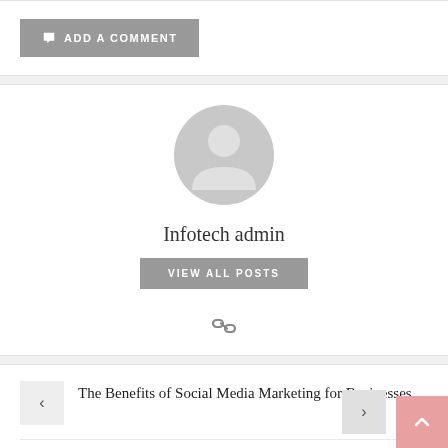ADD A COMMENT
[Figure (illustration): Circular grey default user avatar icon]
Infotech admin
VIEW ALL POSTS
[Figure (illustration): Chain link / permalink icon]
The Benefits of Social Media Marketing for Businesses
What are the best tips on building great SEO backlinks